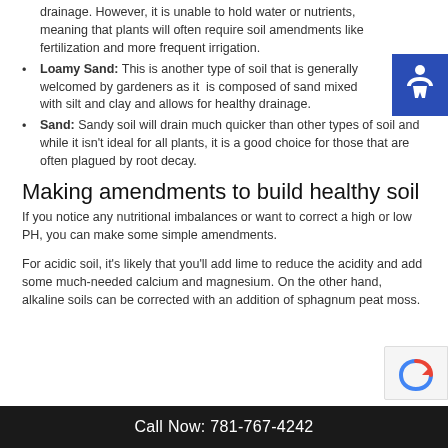drainage. However, it is unable to hold water or nutrients, meaning that plants will often require soil amendments like fertilization and more frequent irrigation.
Loamy Sand: This is another type of soil that is generally welcomed by gardeners as it is composed of sand mixed with silt and clay and allows for healthy drainage.
Sand: Sandy soil will drain much quicker than other types of soil and while it isn't ideal for all plants, it is a good choice for those that are often plagued by root decay.
Making amendments to build healthy soil
If you notice any nutritional imbalances or want to correct a high or low PH, you can make some simple amendments.
For acidic soil, it's likely that you'll add lime to reduce the acidity and add some much-needed calcium and magnesium. On the other hand, alkaline soils can be corrected with an addition of sphagnum peat moss.
Call Now: 781-767-4242